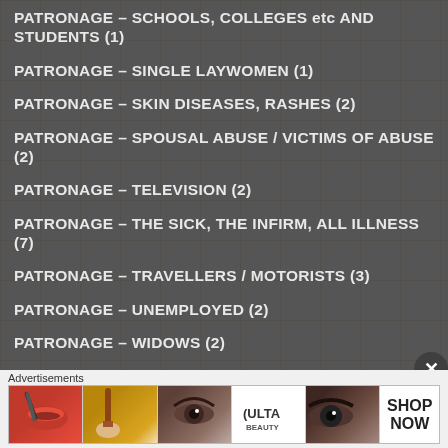PATRONAGE – SCHOOLS, COLLEGES etc AND STUDENTS (1)
PATRONAGE – SINGLE LAYWOMEN (1)
PATRONAGE – SKIN DISEASES, RASHES (2)
PATRONAGE – SPOUSAL ABUSE / VICTIMS OF ABUSE (2)
PATRONAGE – TELEVISION (2)
PATRONAGE – THE SICK, THE INFIRM, ALL ILLNESS (7)
PATRONAGE – TRAVELLERS / MOTORISTS (3)
PATRONAGE – UNEMPLOYED (2)
PATRONAGE – WIDOWS (2)
PATRONAGE – WORKERS (2)
[Figure (photo): Advertisement banner for ULTA beauty products showing makeup images and a shop now call to action]